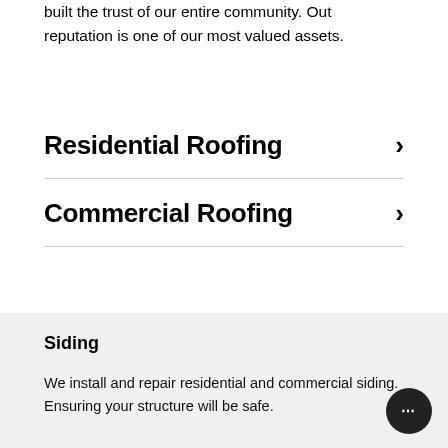built the trust of our entire community. Out reputation is one of our most valued assets.
Residential Roofing >
Commercial Roofing >
Siding
We install and repair residential and commercial siding. Ensuring your structure will be safe.